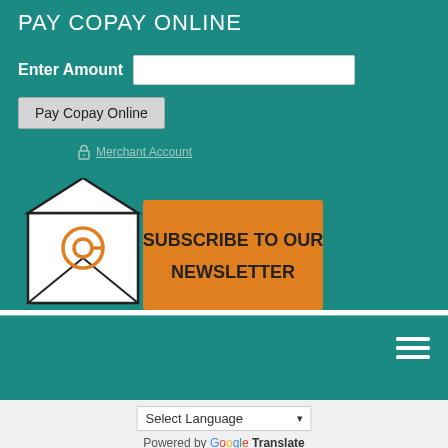PAY COPAY ONLINE
Enter Amount
Pay Copay Online
Merchant Account
[Figure (infographic): Newsletter subscription banner with envelope icon containing an @ symbol and orange button reading SUBSCRIBE TO OUR NEWSLETTER]
[Figure (infographic): Hamburger menu icon (three horizontal white lines)]
Select Language
Powered by Google Translate